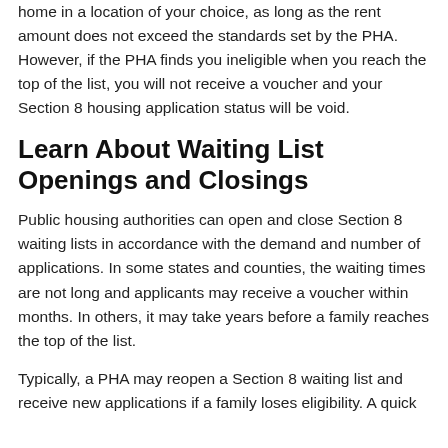home in a location of your choice, as long as the rent amount does not exceed the standards set by the PHA. However, if the PHA finds you ineligible when you reach the top of the list, you will not receive a voucher and your Section 8 housing application status will be void.
Learn About Waiting List Openings and Closings
Public housing authorities can open and close Section 8 waiting lists in accordance with the demand and number of applications. In some states and counties, the waiting times are not long and applicants may receive a voucher within months. In others, it may take years before a family reaches the top of the list.
Typically, a PHA may reopen a Section 8 waiting list and receive new applications if a family loses eligibility. A quick